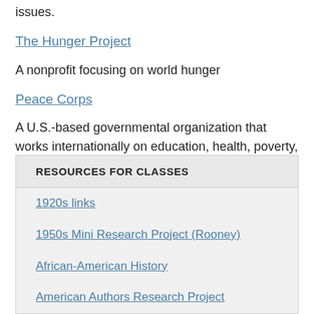issues.
The Hunger Project
A nonprofit focusing on world hunger
Peace Corps
A U.S.-based governmental organization that works internationally on education, health, poverty, and other social issues.
RESOURCES FOR CLASSES
1920s links
1950s Mini Research Project (Rooney)
African-American History
American Authors Research Project